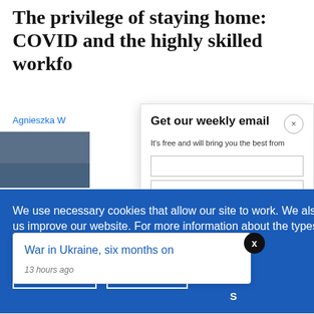The privilege of staying home: COVID and the highly skilled workfo
Agnieszka W
Get our weekly email
It's free and will bring you the best from
We use necessary cookies that allow our site to work. We also set optional cookies that help us improve our website. For more information about the types of cookies we use. READ OUR COOKIES POLICY HERE
COOKIE
ALLOW
War in Ukraine, six months on
13 hours ago
data.
How th